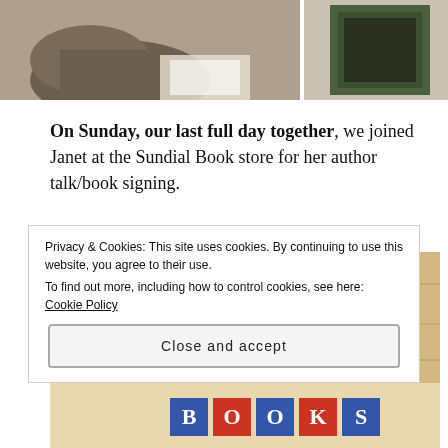[Figure (photo): Two partial photos at the top: left shows a person viewed from above/behind in casual clothing, right shows what appears to be a framed artwork or book on a surface.]
On Sunday, our last full day together, we joined Janet at the Sundial Book store for her author talk/book signing.
[Figure (photo): Photo of a decorative sundial sign on a wooden surface. The sign is blue with a yellow sun face in the center and Roman numerals IX, X, XI, I, II, III around it, with a red border.]
Privacy & Cookies: This site uses cookies. By continuing to use this website, you agree to their use.
To find out more, including how to control cookies, see here: Cookie Policy
Close and accept
[Figure (photo): Partial bottom image showing colorful text/lettering that reads 'BOOKS' on a dark background.]